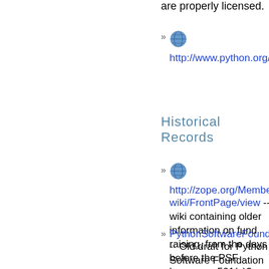are properly licensed.
http://www.python.org/psf...
Historical Records
http://zope.org/Members/... wiki/FrontPage/view -- wiki containing older information on fund raising, from the days before the PSF become a 501(c)3 non-profit.
PythonSoftwareFoundatio... -- Old draft for Python Software Foundation License Version 2 (not adopted and now defunct)